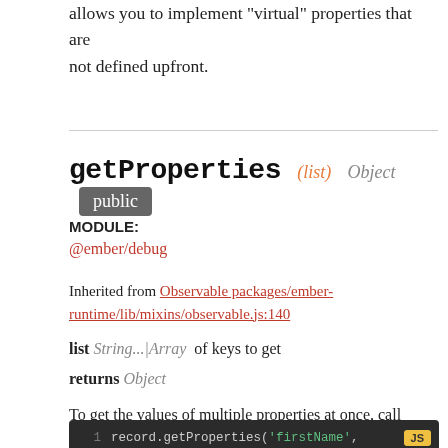allows you to implement "virtual" properties that are not defined upfront.
getProperties (list) Object public
MODULE:
@ember/debug
Inherited from Observable packages/ember-runtime/lib/mixins/observable.js:140
list String...|Array of keys to get
returns Object
To get the values of multiple properties at once, call getProperties with a list of strings or an array:
[Figure (screenshot): Code block showing: 1  record.getProperties('firstName',  JS  2  // { firstName: 'John', lastName: 'Doe']